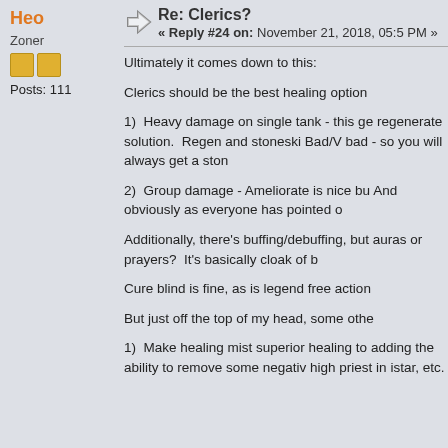Heo
Zoner
Posts: 111
Re: Clerics?
« Reply #24 on: November 21, 2018, 05:5 PM »
Ultimately it comes down to this:
Clerics should be the best healing option
1)  Heavy damage on single tank - this ge regenerate solution.  Regen and stoneski Bad/V bad - so you will always get a ston
2)  Group damage - Ameliorate is nice bu And obviously as everyone has pointed o
Additionally, there's buffing/debuffing, but auras or prayers?  It's basically cloak of b
Cure blind is fine, as is legend free action
But just off the top of my head, some othe
1)  Make healing mist superior healing to adding the ability to remove some negativ high priest in istar, etc.